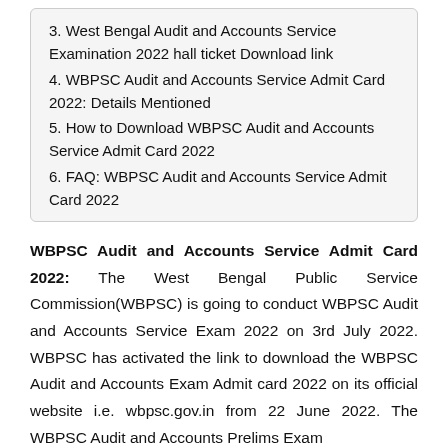3. West Bengal Audit and Accounts Service Examination 2022 hall ticket Download link
4. WBPSC Audit and Accounts Service Admit Card 2022: Details Mentioned
5. How to Download WBPSC Audit and Accounts Service Admit Card 2022
6. FAQ: WBPSC Audit and Accounts Service Admit Card 2022
WBPSC Audit and Accounts Service Admit Card 2022: The West Bengal Public Service Commission(WBPSC) is going to conduct WBPSC Audit and Accounts Service Exam 2022 on 3rd July 2022. WBPSC has activated the link to download the WBPSC Audit and Accounts Exam Admit card 2022 on its official website i.e. wbpsc.gov.in from 22 June 2022. The WBPSC Audit and Accounts Prelims Exam